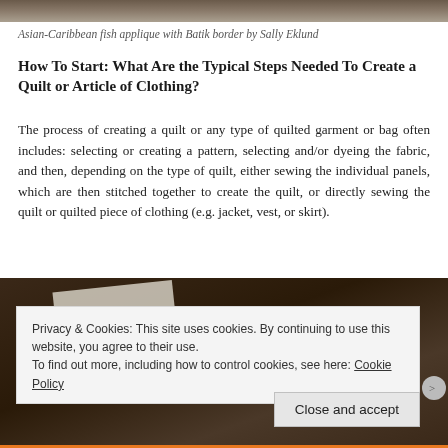[Figure (photo): Top portion of a photo showing a quilt or textile artwork, cropped at the top of the page]
Asian-Caribbean fish applique with Batik border by Sally Eklund
How To Start: What Are the Typical Steps Needed To Create a Quilt or Article of Clothing?
The process of creating a quilt or any type of quilted garment or bag often includes: selecting or creating a pattern, selecting and/or dyeing the fabric, and then, depending on the type of quilt, either sewing the individual panels, which are then stitched together to create the quilt, or directly sewing the quilt or quilted piece of clothing (e.g. jacket, vest, or skirt).
[Figure (photo): Bottom portion of a photo showing a dark background with what appears to be quilting or sewing materials, partially obscured by a cookie consent banner]
Privacy & Cookies: This site uses cookies. By continuing to use this website, you agree to their use.
To find out more, including how to control cookies, see here: Cookie Policy
Close and accept